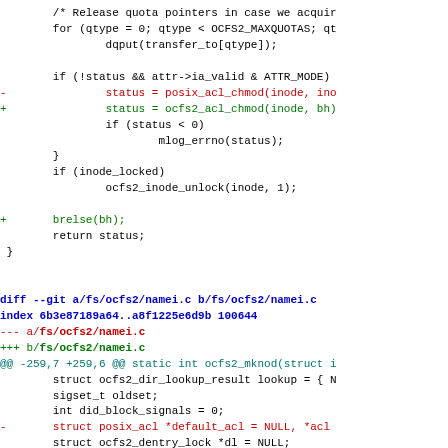[Figure (screenshot): Source code diff showing changes to ocfs2 filesystem code in Linux kernel. Shows removal of posix_acl_chmod call (red minus lines) and addition of ocfs2_acl_chmod and brelse calls (green plus lines), followed by a git diff header for namei.c with removal of posix_acl struct declaration.]